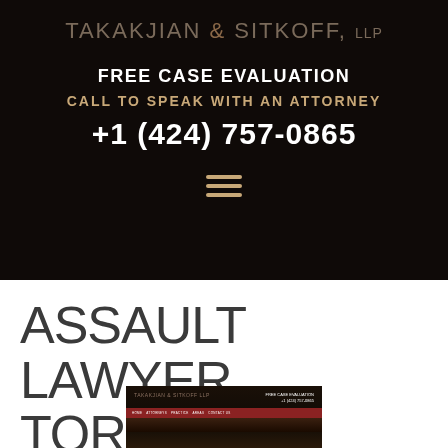TAKAKJIAN & SITKOFF, LLP
FREE CASE EVALUATION
CALL TO SPEAK WITH AN ATTORNEY
+1 (424) 757-0865
ASSAULT LAWYER TORRANCE
[Figure (screenshot): Screenshot of the Takakjian & Sitkoff law firm website showing the header with firm name, free case evaluation call to action, and navigation bar with red background]